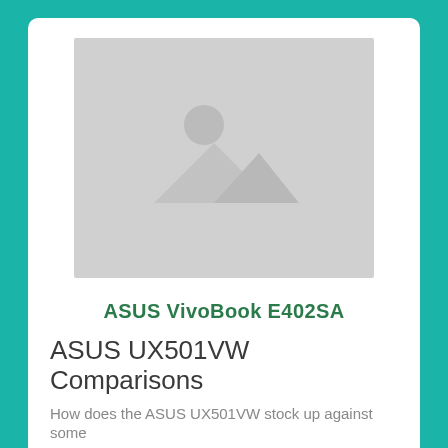[Figure (photo): Placeholder image with grey background showing a mountain/landscape icon with a circle (sun) above two triangles (mountains)]
ASUS VivoBook E402SA
ASUS UX501VW Comparisons
How does the ASUS UX501VW stock up against some